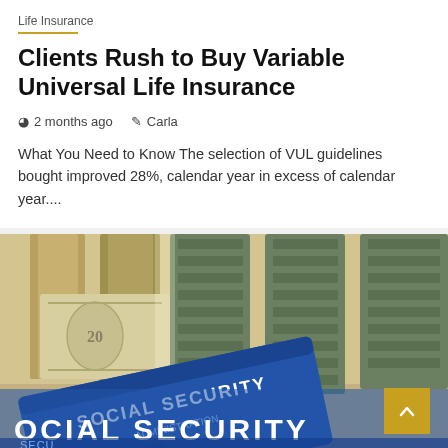Life Insurance
Clients Rush to Buy Variable Universal Life Insurance
2 months ago   Carla
What You Need to Know The selection of VUL guidelines bought improved 28%, calendar year in excess of calendar year....
[Figure (photo): Close-up photo of US dollar bills and a Social Security card]